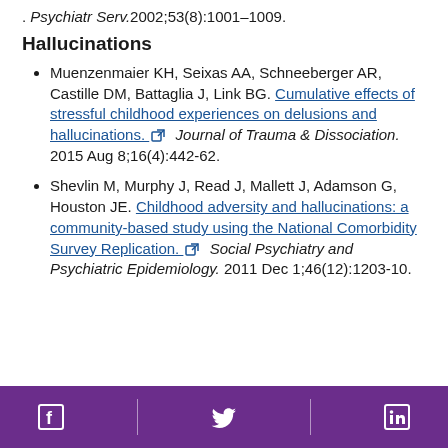. Psychiatr Serv.2002;53(8):1001–1009.
Hallucinations
Muenzenmaier KH, Seixas AA, Schneeberger AR, Castille DM, Battaglia J, Link BG. Cumulative effects of stressful childhood experiences on delusions and hallucinations. [external link] Journal of Trauma & Dissociation. 2015 Aug 8;16(4):442-62.
Shevlin M, Murphy J, Read J, Mallett J, Adamson G, Houston JE. Childhood adversity and hallucinations: a community-based study using the National Comorbidity Survey Replication. [external link] Social Psychiatry and Psychiatric Epidemiology. 2011 Dec 1;46(12):1203-10.
Social media icons: Facebook, Twitter, LinkedIn